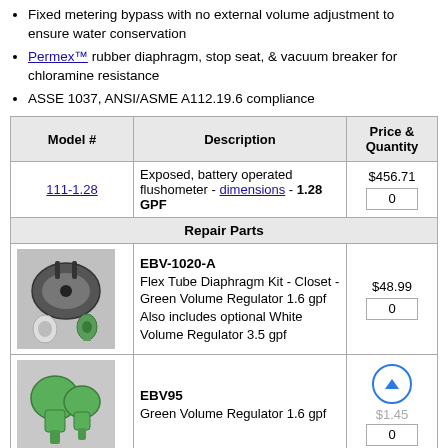Fixed metering bypass with no external volume adjustment to ensure water conservation
Permex™ rubber diaphragm, stop seat, & vacuum breaker for chloramine resistance
ASSE 1037, ANSI/ASME A112.19.6 compliance
| Model # | Description | Price & Quantity |
| --- | --- | --- |
| 111-1.28 | Exposed, battery operated flushometer - dimensions - 1.28 GPF | $456.71 / 0 |
| Repair Parts |  |  |
| [image] | EBV-1020-A
Flex Tube Diaphragm Kit - Closet - Green Volume Regulator 1.6 gpf Also includes optional White Volume Regulator 3.5 gpf | $48.99 / 0 |
| [image] | EBV95
Green Volume Regulator 1.6 gpf | $1.45 / 0 |